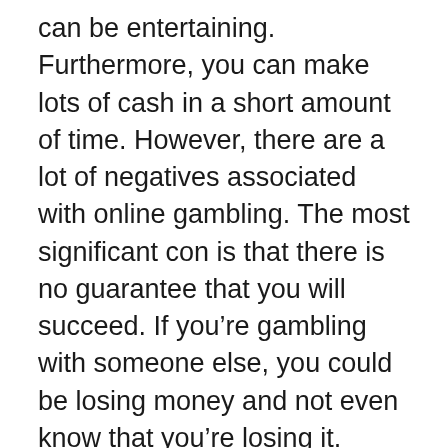can be entertaining. Furthermore, you can make lots of cash in a short amount of time. However, there are a lot of negatives associated with online gambling. The most significant con is that there is no guarantee that you will succeed. If you're gambling with someone else, you could be losing money and not even know that you're losing it. Additionally, you could be putting your financial security in jeopardy if you're gambling with money that you don't have. Finally the internet gambling can be addictive and lead to problems such as addiction. If you're considering gambling online gambling It is crucial to ensure that you're playing responsibly.